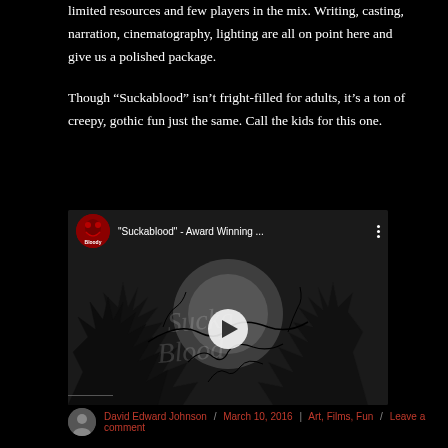limited resources and few players in the mix. Writing, casting, narration, cinematography, lighting are all on point here and give us a polished package.
Though “Suckablood” isn’t fright-filled for adults, it’s a ton of creepy, gothic fun just the same. Call the kids for this one.
[Figure (screenshot): Embedded YouTube video thumbnail for 'Suckablood - Award Winning ...' showing dark gothic artwork with bare trees and the Bloody Cuts channel icon. A play button is overlaid in the center.]
David Edward Johnson / March 10, 2016 | Art, Films, Fun / Leave a comment